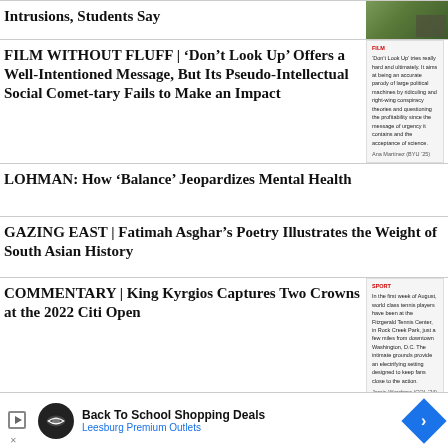Intrusions, Students Say
FILM WITHOUT FLUFF | ‘Don’t Look Up’ Offers a Well-Intentioned Message, But Its Pseudo-Intellectual Social Comet-tary Fails to Make an Impact
LOHMAN: How ‘Balance’ Jeopardizes Mental Health
GAZING EAST | Fatimah Asghar’s Poetry Illustrates the Weight of South Asian History
COMMENTARY | King Kyrgios Captures Two Crowns at the 2022 Citi Open
[Figure (screenshot): Thumbnail image for article about intrusions]
[Figure (screenshot): Snippet preview for Film Without Fluff article]
[Figure (screenshot): Snippet preview for Commentary King Kyrgios article]
[Figure (illustration): Advertisement: Back To School Shopping Deals - Leesburg Premium Outlets]